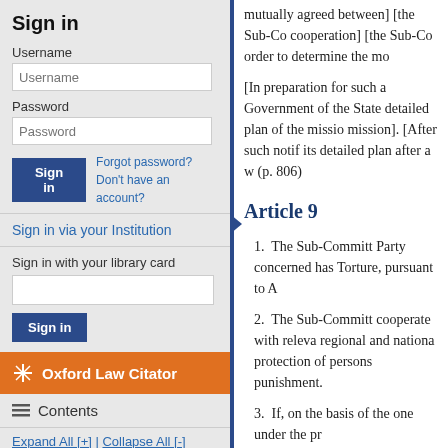Sign in
Username
Password
Forgot password? Don't have an account?
Sign in via your Institution
Sign in with your library card
Oxford Law Citator
Contents
Expand All [+] | Collapse All [-]
Sign up for alerts
mutually agreed between] [the Sub-Co cooperation] [the Sub-Co order to determine the mo
[In preparation for such a Government of the State detailed plan of the missio mission]. [After such notif its detailed plan after a w (p. 806)
Article 9
1. The Sub-Committ Party concerned has Torture, pursuant to A
2. The Sub-Committ cooperate with releva regional and nationa protection of persons punishment.
3. If, on the basis of the one under the pr